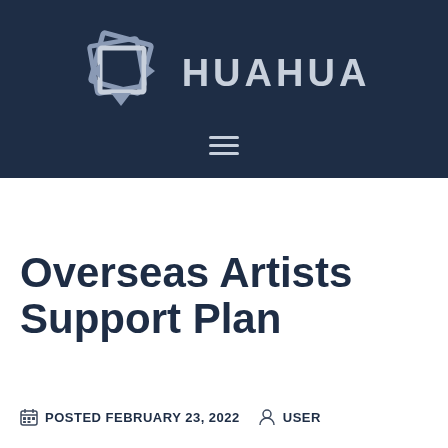[Figure (logo): HUAHUA logo with geometric diamond/square icon and text HUAHUA in large letters on dark navy background header]
Overseas Artists Support Plan
POSTED FEBRUARY 23, 2022   USER